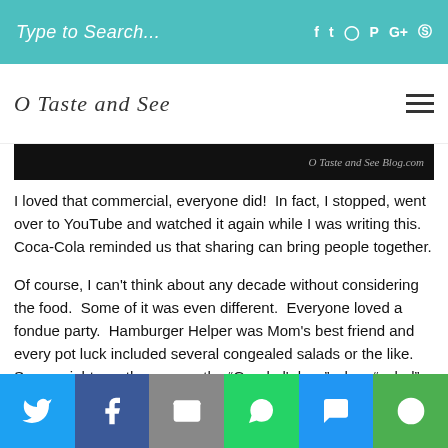Type to Search...
O Taste and See
[Figure (photo): Dark banner image with watermark text 'O Taste and See Blog.com' in italic on right side]
I loved that commercial, everyone did!  In fact, I stopped, went over to YouTube and watched it again while I was writing this.  Coca-Cola reminded us that sharing can bring people together.
Of course, I can't think about any decade without considering the food.  Some of it was even different.  Everyone loved a fondue party.  Hamburger Helper was Mom's best friend and every pot luck included several congealed salads or the like.  Some might say those were the "Good ol' days" when "salad" meant flavored gelatin, whipped topping, marshmallows, canned fruit and nuts!  The best part, they were more like dessert but labeled "salad" and